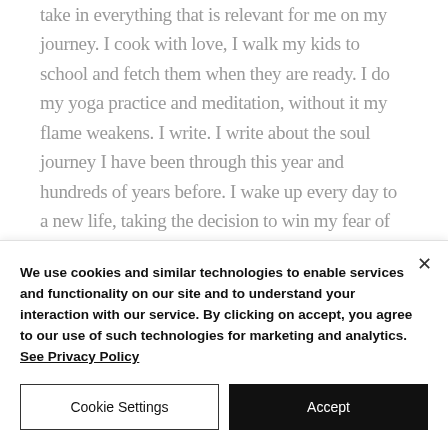take in everything that is relevant for me on my journey. I cook with love, I walk my kids to school and fetch them when they are ready. I do my yoga practice and meditation, without it my flame weakens. I write. I write about the soul journey I have been through this year and hundreds of years before. I wake up every day to a new life, taking the decision to win my fear of that mountain of becoming an
We use cookies and similar technologies to enable services and functionality on our site and to understand your interaction with our service. By clicking on accept, you agree to our use of such technologies for marketing and analytics. See Privacy Policy